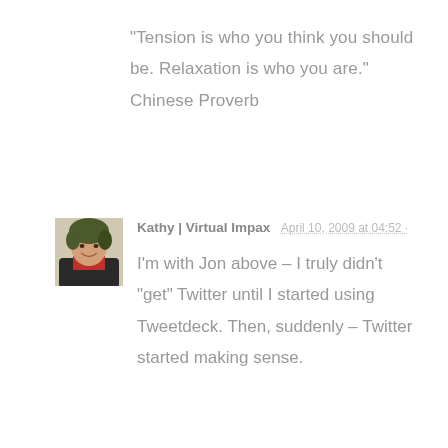“Tension is who you think you should be. Relaxation is who you are.” Chinese Proverb
[Figure (photo): Small square profile photo of a woman with curly green-tinted hair, wearing a red top and dark jacket, smiling.]
Kathy | Virtual Impax  April 10, 2009 at 04:52 ·
I’m with Jon above – I truly didn’t “get” Twitter until I started using Tweetdeck. Then, suddenly – Twitter started making sense.